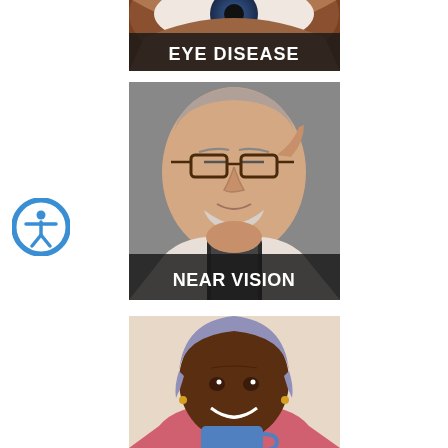[Figure (photo): Close-up of a human eye with a dark background, with the label 'EYE DISEASE' overlaid at the bottom]
[Figure (photo): Elderly man holding up glasses to squint at a smartphone, with the label 'NEAR VISION' overlaid at the bottom]
[Figure (photo): Smiling older Black woman with short gray/purple hair holding a mug, partial photo cut off at bottom]